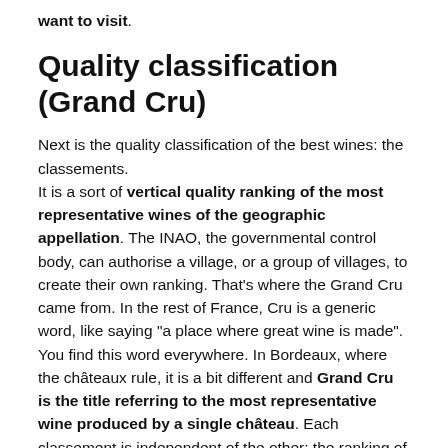want to visit.
Quality classification (Grand Cru)
Next is the quality classification of the best wines: the classements.
It is a sort of vertical quality ranking of the most representative wines of the geographic appellation. The INAO, the governmental control body, can authorise a village, or a group of villages, to create their own ranking. That’s where the Grand Cru came from. In the rest of France, Cru is a generic word, like saying “a place where great wine is made”. You find this word everywhere. In Bordeaux, where the châteaux rule, it is a bit different and Grand Cru is the title referring to the most representative wine produced by a single château. Each classement is independent of the other: the ranking of Saint Emilion’s wines, for example, has no connection with that of Médoc, nor they do both the